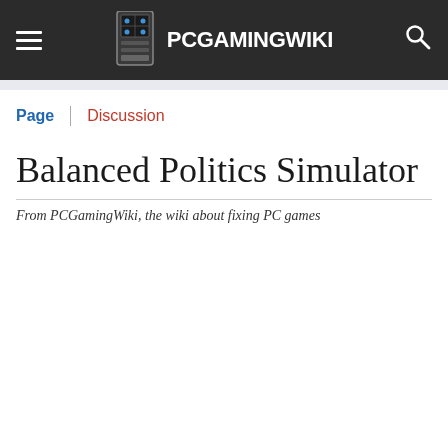PCGamingWiki
Page | Discussion
Balanced Politics Simulator
From PCGamingWiki, the wiki about fixing PC games